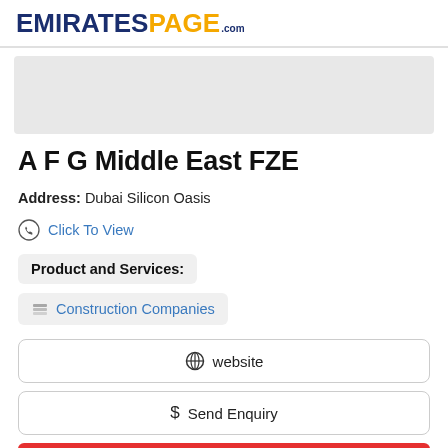EMIRATESPAGE.com
[Figure (other): Gray advertisement placeholder box]
A F G Middle East FZE
Address: Dubai Silicon Oasis
Click To View
Product and Services:
Construction Companies
website
$ Send Enquiry